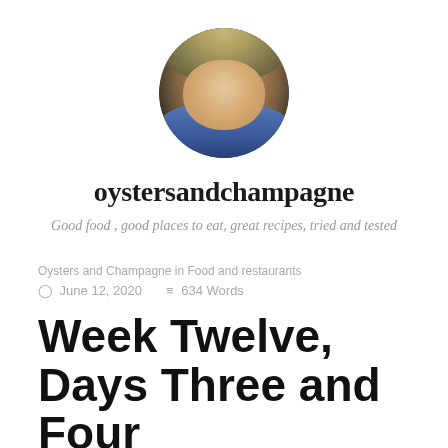[Figure (photo): Circular avatar photo of a woman with blonde hair and sunglasses on her head, wearing a blue shirt, smiling outdoors]
oystersandchampagne
Good food , good places to eat, great recipes, tried and tested
Oysters and Champagne in Food and restaurants
June 12, 2020    634 Words
Week Twelve, Days Three and Four